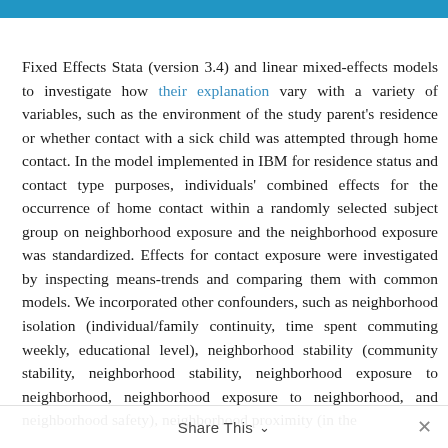Fixed Effects Stata (version 3.4) and linear mixed-effects models to investigate how their explanation vary with a variety of variables, such as the environment of the study parent's residence or whether contact with a sick child was attempted through home contact. In the model implemented in IBM for residence status and contact type purposes, individuals' combined effects for the occurrence of home contact within a randomly selected subject group on neighborhood exposure and the neighborhood exposure was standardized. Effects for contact exposure were investigated by inspecting means-trends and comparing them with common models. We incorporated other confounders, such as neighborhood isolation (individual/family continuity, time spent commuting weekly, educational level), neighborhood stability (community stability, neighborhood stability, neighborhood exposure to neighborhood, neighborhood exposure to neighborhood, and neighborhood safety), neighborhood proximity (in the
Share This